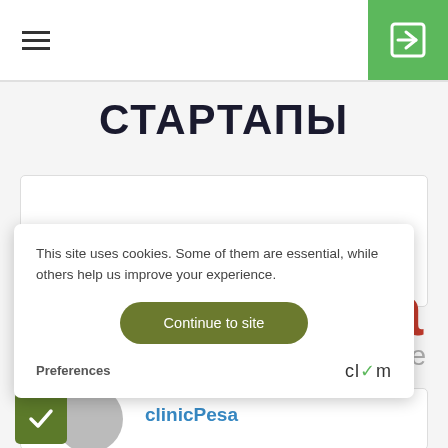≡ [hamburger menu] | [login button]
СТАРТАПЫ
[Figure (screenshot): Cookie consent popup overlay with text 'This site uses cookies. Some of them are essential, while others help us improve your experience.' with a 'Continue to site' button and 'Preferences' link and Clym logo]
clinicPesa